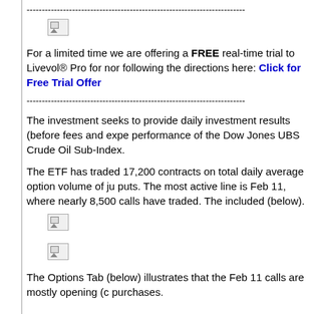------------------------------------------------------------------------
[Figure (other): Broken image placeholder]
For a limited time we are offering a FREE real-time trial to Livevol® Pro for nor following the directions here: Click for Free Trial Offer
------------------------------------------------------------------------
The investment seeks to provide daily investment results (before fees and expe performance of the Dow Jones UBS Crude Oil Sub-Index.
The ETF has traded 17,200 contracts on total daily average option volume of ju puts. The most active line is Feb 11, where nearly 8,500 calls have traded. The included (below).
[Figure (other): Broken image placeholder]
[Figure (other): Broken image placeholder]
The Options Tab (below) illustrates that the Feb 11 calls are mostly opening (c purchases.